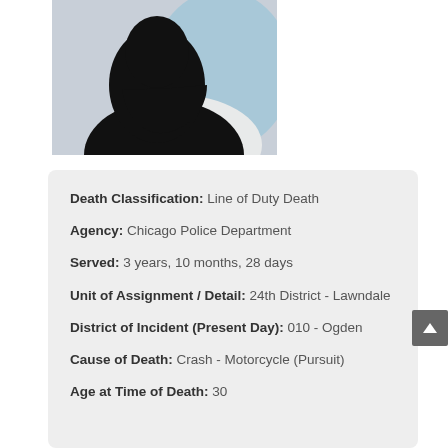[Figure (photo): Silhouette of a person (anonymous/placeholder profile photo) against a light blue and white background with a red shape near the collar area.]
Death Classification: Line of Duty Death
Agency: Chicago Police Department
Served: 3 years, 10 months, 28 days
Unit of Assignment / Detail: 24th District - Lawndale
District of Incident (Present Day): 010 - Ogden
Cause of Death: Crash - Motorcycle (Pursuit)
Age at Time of Death: 30